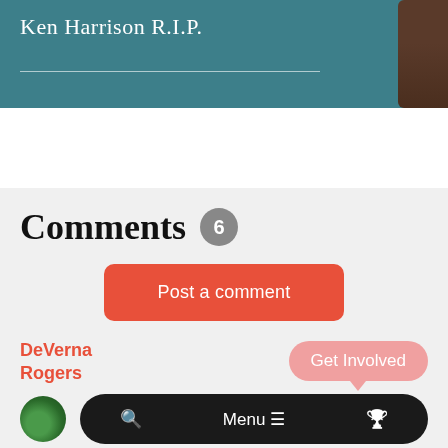Ken Harrison R.I.P.
Comments 6
Post a comment
DeVerna Rogers
Get Involved
Menu
The San Diego River has actually been serving the people San Diego for over 8,000 years, not